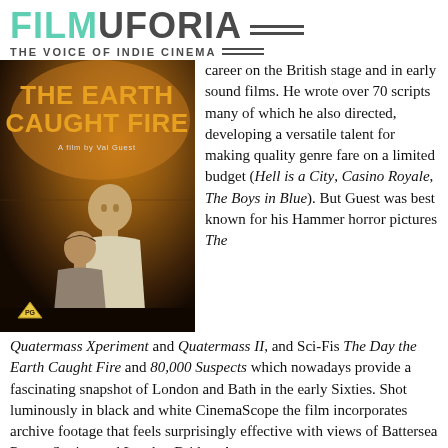[Figure (logo): Filmuforia logo with tagline 'THE VOICE OF INDIE CINEMA']
[Figure (photo): Movie poster for 'The Earth Caught Fire', a film by Val Guest, showing two figures against orange/dark background with PG rating badge]
career on the British stage and in early sound films. He wrote over 70 scripts many of which he also directed, developing a versatile talent for making quality genre fare on a limited budget (Hell is a City, Casino Royale, The Boys in Blue). But Guest was best known for his Hammer horror pictures The Quatermass Xperiment and Quatermass II, and Sci-Fis The Day the Earth Caught Fire and 80,000 Suspects which nowadays provide a fascinating snapshot of London and Bath in the early Sixties. Shot luminously in black and white CinemaScope the film incorporates archive footage that feels surprisingly effective with views of Battersea Power Station and London Bridge. A